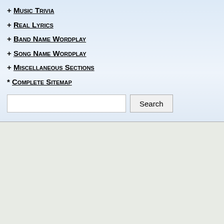+ Music Trivia
+ Real Lyrics
+ Band Name Wordplay
+ Song Name Wordplay
+ Miscellaneous Sections
* Complete Sitemap